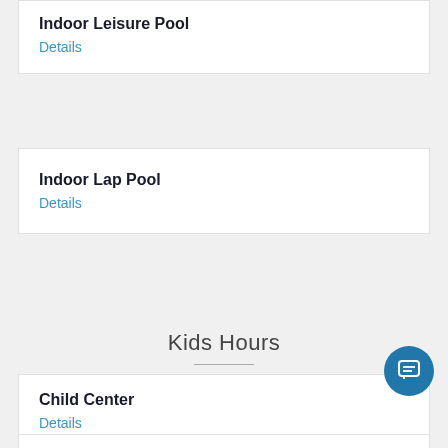Indoor Leisure Pool
Details
Indoor Lap Pool
Details
Kids Hours
Child Center
Details
Infant Room
Details